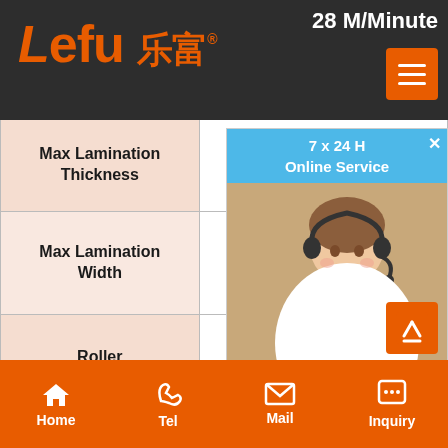Lefu 乐富 — Max Lamination Speed: 28 M/Minute
| Parameter | Value |
| --- | --- |
| Max Lamination Thickness |  |
| Max Lamination Width | 1 |
| Roller |  |
| Diameter of Roller | 130mm |
| Pressure/Height Adjust | Automatic (Pneumatic P |
| Hand Protection | Safety L  Sens |
[Figure (screenshot): 7x24 H Online Service popup overlay with photo of customer service representative and Get Price button]
Home | Tel | Mail | Inquiry